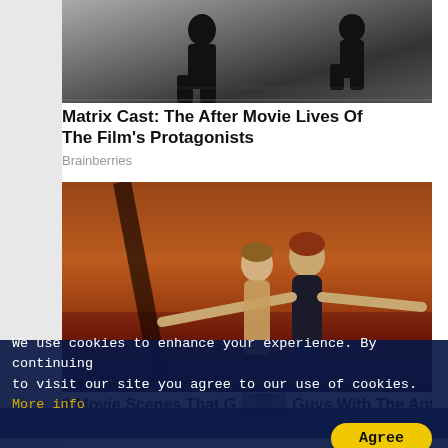[Figure (photo): Movie still from The Matrix showing figures in black clothing on a rooftop or tiled surface]
Matrix Cast: The After Movie Lives Of The Film's Protagonists
Brainberries
[Figure (photo): Iconic scene from Titanic with two actors in the famous bow of the ship pose against an orange sunset sky]
9 Movie Scenes That G... Guys With The Anti-...
We use cookies to enhance your experience. By continuing to visit our site you agree to our use of cookies. More info
Agree